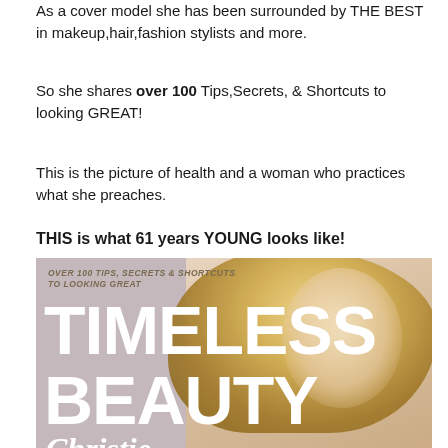As a cover model she has been surrounded by THE BEST in makeup,hair,fashion stylists and more.
So she shares over 100 Tips,Secrets, & Shortcuts to looking GREAT!
This is the picture of health and a woman who practices what she preaches.
THIS is what 61 years YOUNG looks like!
[Figure (photo): Book cover of 'Timeless Beauty' by Christie Brinkley. Cover shows a blonde woman smiling. Subtitle reads: Over 100 Tips, Secrets & Shortcuts to Looking Great. Taupe/mauve background.]